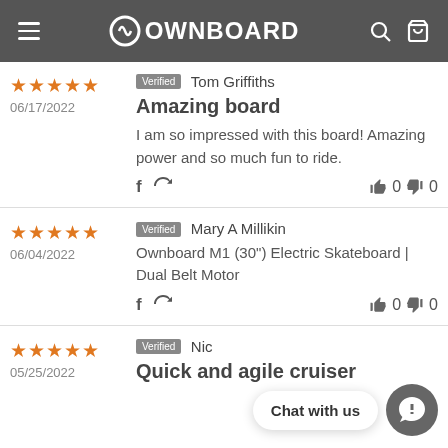OWNBOARD
Tom Griffiths | Verified | 06/17/2022 | Amazing board | I am so impressed with this board! Amazing power and so much fun to ride. | 0 up 0 down
Mary A Millikin | Verified | 06/04/2022 | Ownboard M1 (30") Electric Skateboard | Dual Belt Motor | 0 up 0 down
Nic | Verified | 05/25/2022 | Quick and agile cruiser